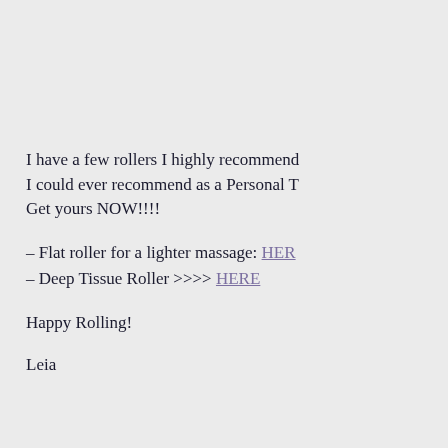I have a few rollers I highly recommend I could ever recommend as a Personal T Get yours NOW!!!!
- Flat roller for a lighter massage: HERE
- Deep Tissue Roller >>>> HERE
Happy Rolling!
Leia